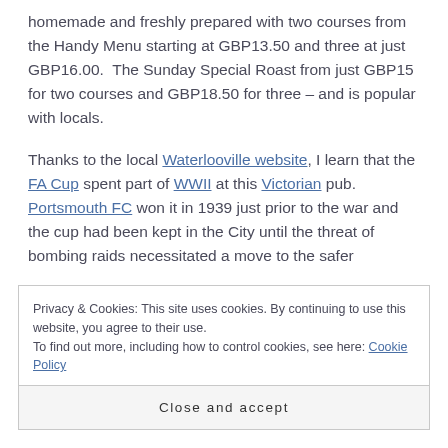homemade and freshly prepared with two courses from the Handy Menu starting at GBP13.50 and three at just GBP16.00. The Sunday Special Roast from just GBP15 for two courses and GBP18.50 for three – and is popular with locals.

Thanks to the local Waterlooville website, I learn that the FA Cup spent part of WWII at this Victorian pub. Portsmouth FC won it in 1939 just prior to the war and the cup had been kept in the City until the threat of bombing raids necessitated a move to the safer
Privacy & Cookies: This site uses cookies. By continuing to use this website, you agree to their use.
To find out more, including how to control cookies, see here: Cookie Policy
Close and accept